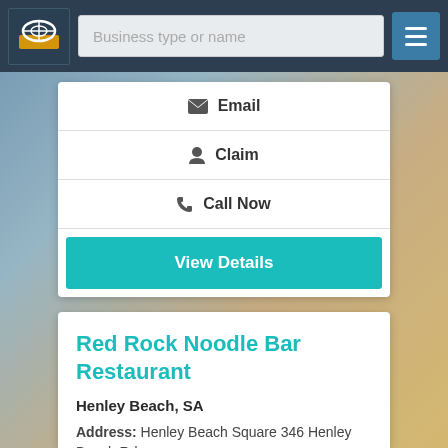[Figure (screenshot): Navigation bar with logo, search field labeled 'Business type or name', and hamburger menu button]
Email
Claim
Call Now
View Details
Red Rock Noodle Bar Restaurant
Henley Beach, SA
Address: Henley Beach Square 346 Henley Beach Rd, Henley Beach SA 5022